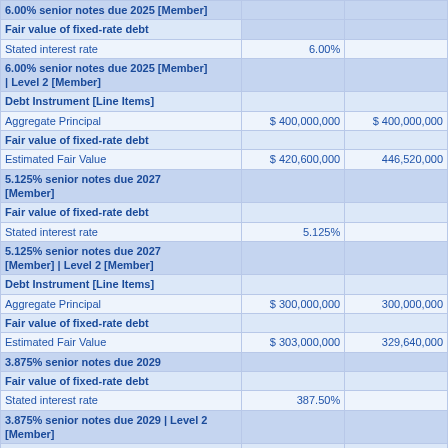|  |  |  |
| --- | --- | --- |
| 6.00% senior notes due 2025 [Member] |  |  |
| Fair value of fixed-rate debt |  |  |
| Stated interest rate | 6.00% |  |
| 6.00% senior notes due 2025 [Member] | Level 2 [Member] |  |  |
| Debt Instrument [Line Items] |  |  |
| Aggregate Principal | $ 400,000,000 | $ 400,000,000 |
| Fair value of fixed-rate debt |  |  |
| Estimated Fair Value | $ 420,600,000 | 446,520,000 |
| 5.125% senior notes due 2027 [Member] |  |  |
| Fair value of fixed-rate debt |  |  |
| Stated interest rate | 5.125% |  |
| 5.125% senior notes due 2027 [Member] | Level 2 [Member] |  |  |
| Debt Instrument [Line Items] |  |  |
| Aggregate Principal | $ 300,000,000 | 300,000,000 |
| Fair value of fixed-rate debt |  |  |
| Estimated Fair Value | $ 303,000,000 | 329,640,000 |
| 3.875% senior notes due 2029 |  |  |
| Fair value of fixed-rate debt |  |  |
| Stated interest rate | 387.50% |  |
| 3.875% senior notes due 2029 | Level 2 [Member] |  |  |
| Debt Instrument [Line Items] |  |  |
| Aggregate Principal | $ 450,000,000 | 450,000,000 |
| Fair value of fixed-rate debt |  |  |
| Estimated Fair Value | $ 423,000,000 | $ 472,500,000 |